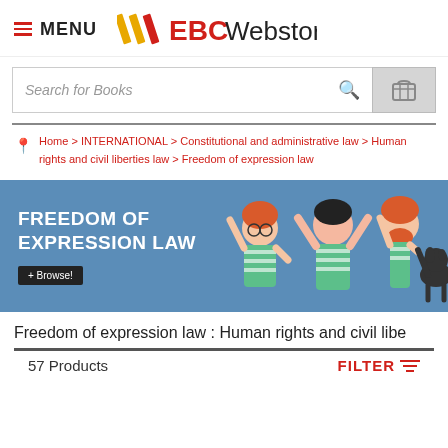MENU — EBC Webstore
Search for Books
Home > INTERNATIONAL > Constitutional and administrative law > Human rights and civil liberties law > Freedom of expression law
[Figure (illustration): Banner showing 'FREEDOM OF EXPRESSION LAW' text with illustrated cartoon characters raising hands, on a blue background with a Browse button]
Freedom of expression law : Human rights and civil libe
57 Products
FILTER